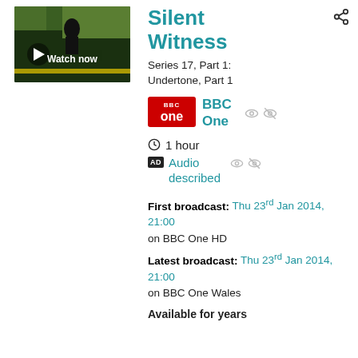[Figure (screenshot): Thumbnail of Silent Witness TV show with a person in outdoor scene and Watch now button overlay]
Silent Witness
Series 17, Part 1: Undertone, Part 1
[Figure (logo): BBC One red logo badge]
BBC One
1 hour
Audio described
First broadcast: Thu 23rd Jan 2014, 21:00 on BBC One HD
Latest broadcast: Thu 23rd Jan 2014, 21:00 on BBC One Wales
Available for years